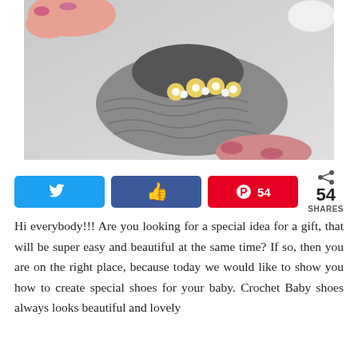[Figure (photo): A hand with pink glittery nail polish holding a small grey crochet baby shoe decorated with yellow crocheted flowers and white pearl beads.]
[Figure (infographic): Social sharing buttons: Twitter (blue bird icon), Facebook (blue thumbs up icon), Pinterest (red pin icon with count 54), and a share icon with count 54 SHARES.]
Hi everybody!!! Are you looking for a special idea for a gift, that will be super easy and beautiful at the same time? If so, then you are on the right place, because today we would like to show you how to create special shoes for your baby. Crochet Baby shoes always looks beautiful and lovely